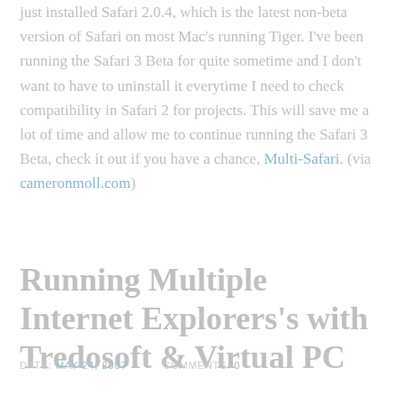just installed Safari 2.0.4, which is the latest non-beta version of Safari on most Mac's running Tiger. I've been running the Safari 3 Beta for quite sometime and I don't want to have to uninstall it everytime I need to check compatibility in Safari 2 for projects. This will save me a lot of time and allow me to continue running the Safari 3 Beta, check it out if you have a chance, Multi-Safari. (via cameronmoll.com)
Running Multiple Internet Explorers's with Tredosoft & Virtual PC
DATE: MAY 24, 2007    COMMENTS: 0